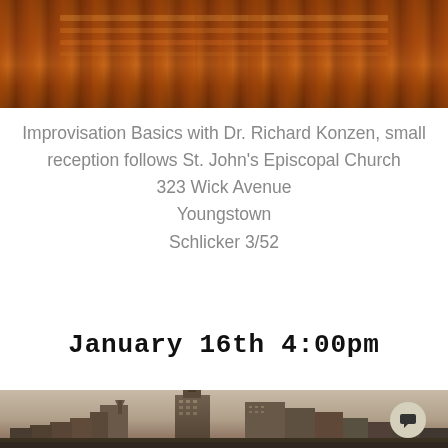[Figure (photo): Close-up photo of ornate wooden pipe organ pipes with decorative carved details, warm amber and brown tones]
Improvisation Basics with Dr. Richard Konzen, small reception follows St. John's Episcopal Church
323 Wick Avenue
Youngstown
Schlicker 3/52
January 16th 4:00pm
[Figure (photo): Sepia-toned cityscape photo of Youngstown Ohio downtown skyline with tall buildings including The Youngstown building, overcast sky, with a circular chat/comment button overlay in lower right]